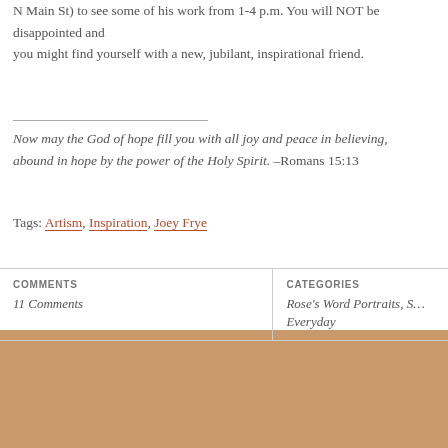N Main St) to see some of his work from 1-4 p.m. You will NOT be disappointed and you might find yourself with a new, jubilant, inspirational friend.
Now may the God of hope fill you with all joy and peace in believing, so that you may abound in hope by the power of the Holy Spirit. –Romans 15:13
Tags: Artism, Inspiration, Joey Frye
| COMMENTS | CATEGORIES |
| --- | --- |
| 11 Comments | Rose's Word Portraits, S… Everyday |